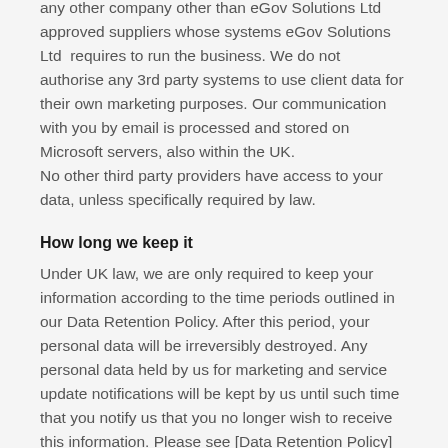any other company other than eGov Solutions Ltd approved suppliers whose systems eGov Solutions Ltd requires to run the business. We do not authorise any 3rd party systems to use client data for their own marketing purposes. Our communication with you by email is processed and stored on Microsoft servers, also within the UK.
No other third party providers have access to your data, unless specifically required by law.
How long we keep it
Under UK law, we are only required to keep your information according to the time periods outlined in our Data Retention Policy. After this period, your personal data will be irreversibly destroyed. Any personal data held by us for marketing and service update notifications will be kept by us until such time that you notify us that you no longer wish to receive this information. Please see [Data Retention Policy] for more information on our personal data retention